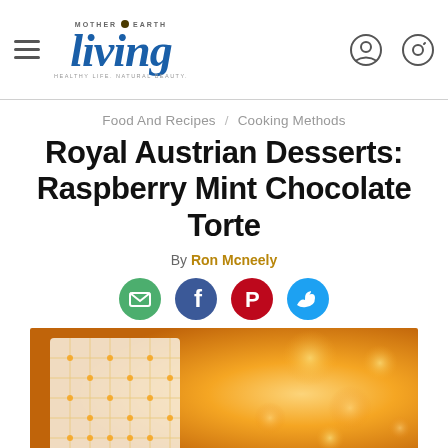Mother Earth Living — Healthy Life. Natural Beauty.
Food And Recipes / Cooking Methods
Royal Austrian Desserts: Raspberry Mint Chocolate Torte
By Ron Mcneely
[Figure (other): Social sharing icons: email (green), facebook (blue), pinterest (red), twitter (light blue)]
[Figure (photo): Photo of a decorated torte/cake slice with bokeh golden background lighting]